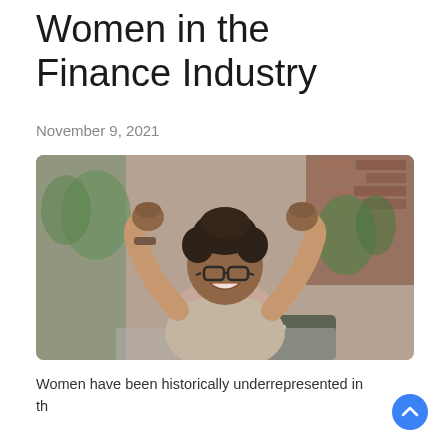Women in the Finance Industry
November 9, 2021
[Figure (photo): A Black woman wearing glasses and a light beige top sits at a laptop, raising both fists in a celebratory pose, smiling broadly. Green plants and a brick wall are visible in the background.]
Women have been historically underrepresented in the